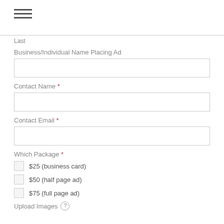[Figure (other): Hamburger menu icon (three horizontal lines)]
Last
Business/Individual Name Placing Ad
Contact Name *
Contact Email *
Which Package *
$25 (business card)
$50 (half page ad)
$75 (full page ad)
Upload Images